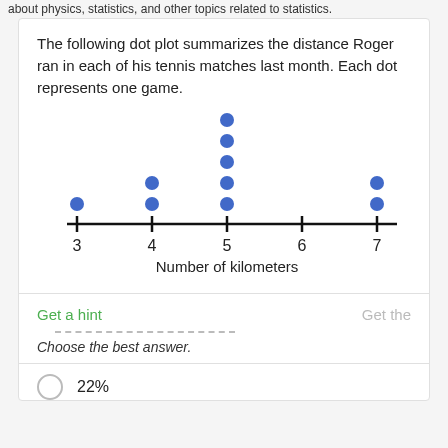about physics, statistics, and other topics related to statistics.
The following dot plot summarizes the distance Roger ran in each of his tennis matches last month. Each dot represents one game.
[Figure (other): Dot plot showing distances Roger ran in tennis matches. X-axis labeled 'Number of kilometers' with values 3, 4, 5, 6, 7. Dots: 1 dot at 3, 2 dots at 4, 5 dots at 5, 0 dots at 6, 2 dots at 7.]
Get a hint
Get the
Choose the best answer.
22%